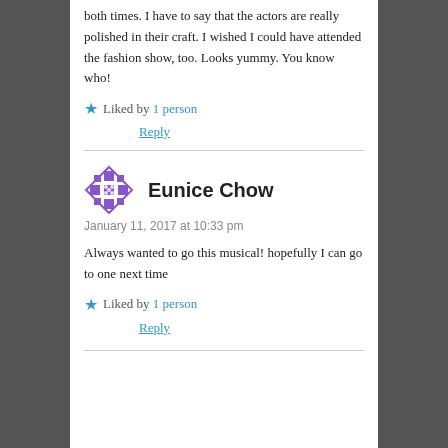both times. I have to say that the actors are really polished in their craft. I wished I could have attended the fashion show, too. Looks yummy. You know who!
★ Liked by 1 person
Reply
Eunice Chow
January 11, 2017 at 10:33 pm
Always wanted to go this musical! hopefully I can go to one next time
★ Liked by 1 person
Reply